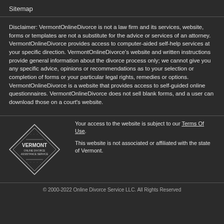Sitemap
Disclaimer: VermontOnlineDivorce is not a law firm and its services, website, forms or templates are not a substitute for the advice or services of an attorney. VermontOnlineDivorce provides access to computer-aided self-help services at your specific direction. VermontOnlineDivorce's website and written instructions provide general information about the divorce process only; we cannot give you any specific advice, opinions or recommendations as to your selection or completion of forms or your particular legal rights, remedies or options. VermontOnlineDivorce is a website that provides access to self-guided online questionnaires. VermontOnlineDivorce does not sell blank forms, and a user can download those on a court's website.
[Figure (logo): Vermont Online Divorce Assistance Service diamond-shaped logo]
Your access to the website is subject to our Terms Of Use.

This website is not associated or affiliated with the state of Vermont.
© 2000-2022 Online Divorce Service LLC. All Rights Reserved